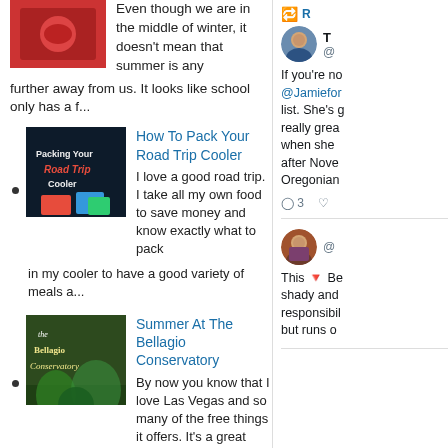Even though we are in the middle of winter, it doesn't mean that summer is any further away from us. It looks like school only has a f...
How To Pack Your Road Trip Cooler — I love a good road trip. I take all my own food to save money and know exactly what to pack in my cooler to have a good variety of meals a...
Summer At The Bellagio Conservatory — By now you know that I love Las Vegas and so many of the free things it offers. It's a great way to spend less on activities, so you can...
[Figure (screenshot): Right column showing two Twitter/social media tweet excerpts with avatars and partial text visible]
If you're no... @Jamiefor... list. She's g... really grea... when she ... after Nove... Oregonian...
This ⬇ Be... shady and... responsibil... but runs o...